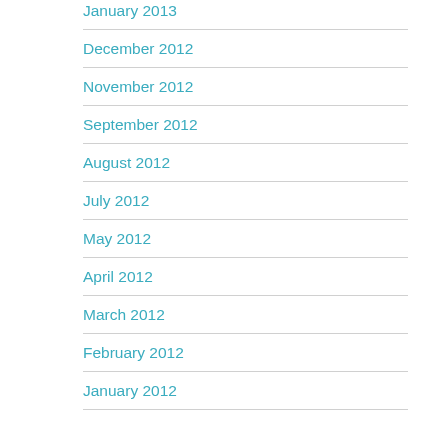January 2013
December 2012
November 2012
September 2012
August 2012
July 2012
May 2012
April 2012
March 2012
February 2012
January 2012